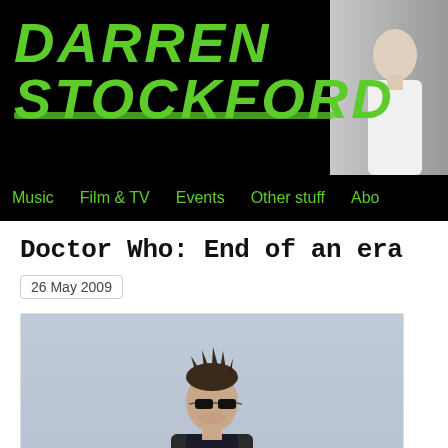DARREN STOCKFORD
Music  Film & TV  Events  Other stuff  Abo
Doctor Who: End of an era
26 May 2009
[Figure (photo): Photo of a man with spiky dark hair wearing sunglasses, against a light grey-blue sky background. The man appears to be David Tennant as the Doctor.]